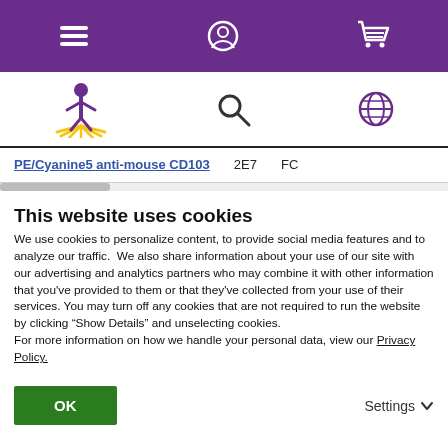[Figure (screenshot): Purple navigation bar with hamburger menu icon, user/account icon, and shopping cart icon in white]
[Figure (screenshot): White secondary navigation bar with BioLegend logo (figure with rays), search magnifying glass icon, and globe/language icon; underlined by a dark horizontal line]
PE/Cyanine5 anti-mouse CD103   2E7   FC
This website uses cookies
We use cookies to personalize content, to provide social media features and to analyze our traffic.  We also share information about your use of our site with our advertising and analytics partners who may combine it with other information that you've provided to them or that they've collected from your use of their services. You may turn off any cookies that are not required to run the website by clicking “Show Details” and unselecting cookies.
For more information on how we handle your personal data, view our Privacy Policy.
OK   Settings